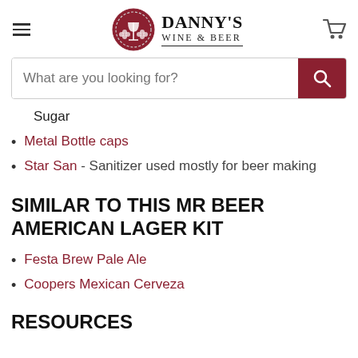[Figure (logo): Danny's Wine & Beer logo with hamburger menu and cart icon in header]
[Figure (screenshot): Search bar with placeholder text 'What are you looking for?' and red search button]
Sugar
Metal Bottle caps
Star San - Sanitizer used mostly for beer making
SIMILAR TO THIS MR BEER AMERICAN LAGER KIT
Festa Brew Pale Ale
Coopers Mexican Cerveza
RESOURCES